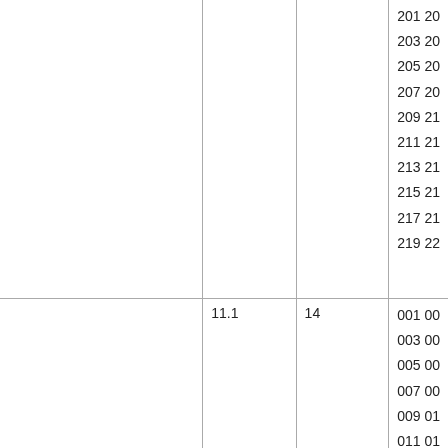|  |  |  | 201 20...
203 20...
205 20...
207 20...
209 21...
211 21...
213 21...
215 21...
217 21...
219 22... |
| 11.1 | 14 | 001 00...
003 00...
005 00...
007 00...
009 01...
011 01...
013 01... |
| 11.2 | 16 | 001.S... |